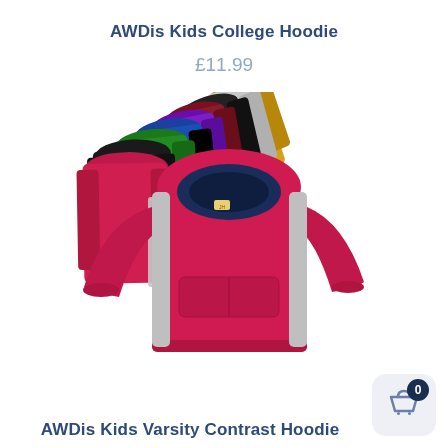AWDis Kids College Hoodie
£11.99
[Figure (photo): Stack of multiple AWDis Kids College Hoodies in various colors including pink/magenta (front), grey, black, pink, red, green, purple, blue, and yellow/mustard, arranged in a fanned display with the most prominent hoodie in the foreground showing a navy contrast hood lining.]
AWDis Kids Varsity Contrast Hoodie